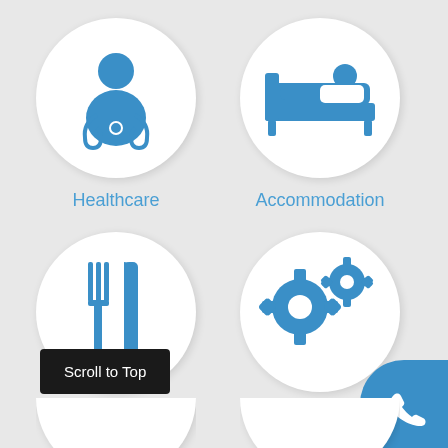[Figure (infographic): Healthcare icon: blue doctor with stethoscope inside white circle on gray background]
Healthcare
[Figure (infographic): Accommodation icon: blue person lying in bed inside white circle on gray background]
Accommodation
[Figure (infographic): Beverage icon: blue fork and knife inside white circle on gray background]
Beverage
[Figure (infographic): Industrial icon: two blue gear cogs inside white circle on gray background]
Industrial
Scroll to Top